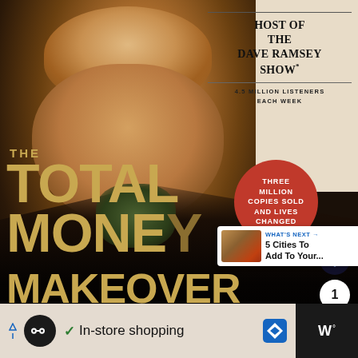[Figure (photo): Book cover of 'The Total Money Makeover' by Dave Ramsey. Shows a middle-aged bald man in a dark jacket in the center-left. Upper right has cream/white background with text 'HOST OF THE DAVE RAMSEY SHOW* 4.5 MILLION LISTENERS EACH WEEK'. A red circle badge reads 'THREE MILLION COPIES SOLD AND LIVES CHANGED'. Large gold/tan text at bottom reads 'THE TOTAL MONEY MAKEOVER'. A 'What's Next' overlay shows '5 Cities To Add To Your...' in bottom right. A heart icon, share count of 1, and share button are on the right side.]
HOST OF THE DAVE RAMSEY SHOW*
4.5 MILLION LISTENERS EACH WEEK
THREE MILLION COPIES SOLD AND LIVES CHANGED
THE TOTAL MONEY MAKEOVER
WHAT'S NEXT → 5 Cities To Add To Your...
✓ In-store shopping